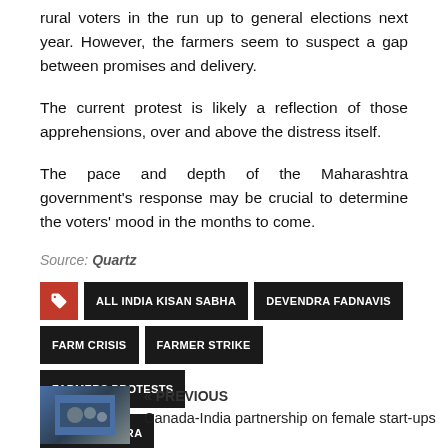rural voters in the run up to general elections next year. However, the farmers seem to suspect a gap between promises and delivery.
The current protest is likely a reflection of those apprehensions, over and above the distress itself.
The pace and depth of the Maharashtra government's response may be crucial to determine the voters' mood in the months to come.
Source: Quartz
ALL INDIA KISAN SABHA
DEVENDRA FADNAVIS
FARM CRISIS
FARMER STRIKE
FARMERS PROTESTS
MAHARASHTRA
« PREVIOUS
Canada-India partnership on female start-ups